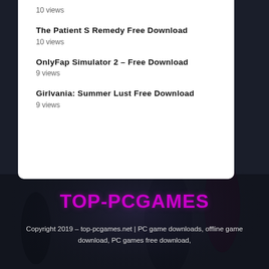10 views
The Patient S Remedy Free Download
10 views
OnlyFap Simulator 2 – Free Download
9 views
Girlvania: Summer Lust Free Download
9 views
[Figure (photo): Dark gaming background with characters in rain/fog scene]
TOP-PCGAMES
Copyright 2019 – top-pcgames.net | PC game downloads, offline game download, PC games free download,